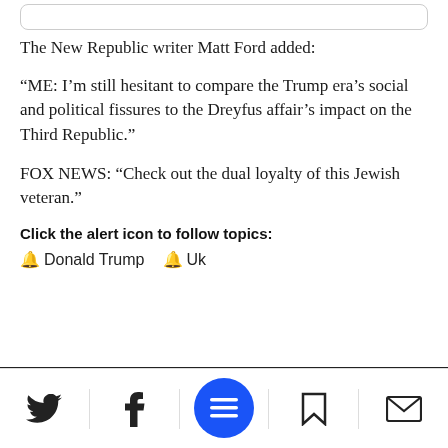[Figure (screenshot): Top rounded rectangle search/address bar UI element]
The New Republic writer Matt Ford added:
“ME: I’m still hesitant to compare the Trump era’s social and political fissures to the Dreyfus affair’s impact on the Third Republic.”
FOX NEWS: “Check out the dual loyalty of this Jewish veteran.”
Click the alert icon to follow topics:
Donald Trump   Uk
[Figure (screenshot): Mobile app bottom navigation bar with Twitter, Facebook, hamburger menu (blue circle), bookmark, and mail icons]